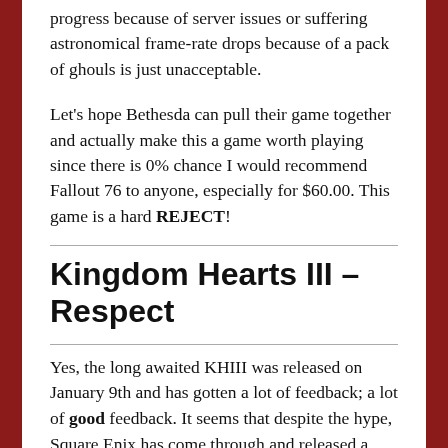progress because of server issues or suffering astronomical frame-rate drops because of a pack of ghouls is just unacceptable.
Let's hope Bethesda can pull their game together and actually make this a game worth playing since there is 0% chance I would recommend Fallout 76 to anyone, especially for $60.00. This game is a hard REJECT!
Kingdom Hearts III – Respect
Yes, the long awaited KHIII was released on January 9th and has gotten a lot of feedback; a lot of good feedback. It seems that despite the hype, Square Enix has come through and released a very successful threequel to the Kingdom Hearts series. If you enjoyed the previous games, then I